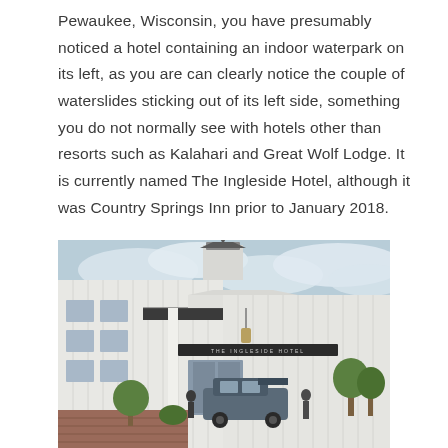Pewaukee, Wisconsin, you have presumably noticed a hotel containing an indoor waterpark on its left, as you are can clearly notice the couple of waterslides sticking out of its left side, something you do not normally see with hotels other than resorts such as Kalahari and Great Wolf Lodge. It is currently named The Ingleside Hotel, although it was Country Springs Inn prior to January 2018.
[Figure (photo): Photograph of the exterior entrance of The Ingleside Hotel, a white building with a covered portico featuring white columns, a lantern hanging from the ceiling, a cupola on the roof, and cars and people in the driveway.]